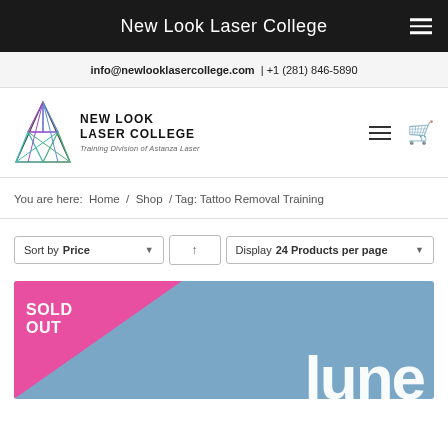New Look Laser College
info@newlooklasercollege.com | +1 (281) 846-5890
[Figure (logo): New Look Laser College logo with triangular geometric design in purple, blue, teal and green. Text: NEW LOOK LASER COLLEGE, Training Division of Astanza Laser]
You are here:  Home / Shop / Tag: Tattoo Removal Training
Sort by Price  ↑  Display 24 Products per page
[Figure (illustration): Product card with pink/magenta triangle in upper-left corner showing SOLD OUT text in white, and a blue-grey background with partial text 'lune' visible in large white letters]